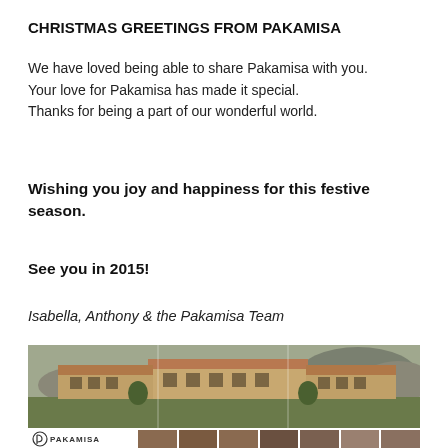CHRISTMAS GREETINGS FROM PAKAMISA
We have loved being able to share Pakamisa with you.
Your love for Pakamisa has made it special.
Thanks for being a part of our wonderful world.
Wishing you joy and happiness for this festive season.
See you in 2015!
Isabella, Anthony & the Pakamisa Team
[Figure (photo): Panoramic photo of Pakamisa lodge buildings with tiled roofs on a green lawn with mountains in the background]
[Figure (photo): Bottom strip showing Pakamisa logo on the left and portrait photos of multiple staff members of the Pakamisa Team]